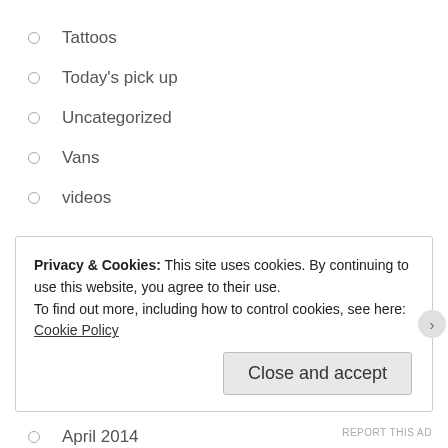Tattoos
Today's pick up
Uncategorized
Vans
videos
ARCHIVES
May 2016
April 2016
February 2016
January 2016
April 2014
Privacy & Cookies: This site uses cookies. By continuing to use this website, you agree to their use. To find out more, including how to control cookies, see here: Cookie Policy
Close and accept